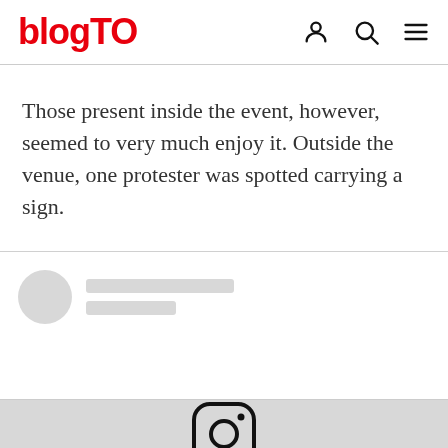blogTO
Those present inside the event, however, seemed to very much enjoy it. Outside the venue, one protester was spotted carrying a sign.
[Figure (screenshot): Embedded social media post placeholder with avatar circle and grey loading bars]
[Figure (logo): Instagram logo icon at bottom of page]